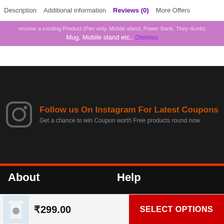Description   Additional information   Reviews (0)   More Offers
Mug, Mobile stand etc..  Dismiss
[Figure (screenshot): Dark banner promoting Instagram follow for latest coupons with Instagram icon and red underline]
About
Help
About Us
My Account
Contact Us
Payments
Sell With Us
Shipping
₹299.00   SELECT OPTIONS